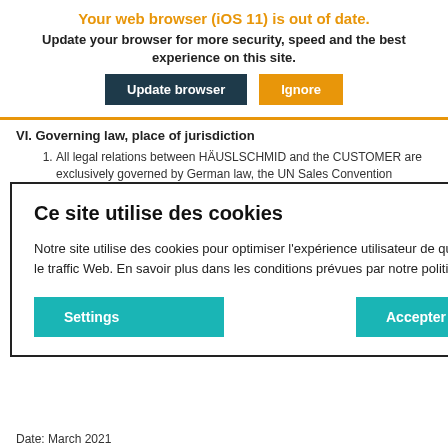Your web browser (iOS 11) is out of date. Update your browser for more security, speed and the best experience on this site.
[Figure (screenshot): Two buttons: 'Update browser' (dark teal/navy) and 'Ignore' (orange)]
VI. Governing law, place of jurisdiction
All legal relations between HÄUSLSCHMID and the CUSTOMER are exclusively governed by German law, the UN Sales Convention
[Figure (other): Cookie consent dialog overlay with title 'Ce site utilise des cookies', body text in French about cookies and privacy policy, and two teal buttons: 'Settings' and 'Accepter tous']
ut of the at the seat etion sue r, as o file for ne on; such and the
Date: March 2021